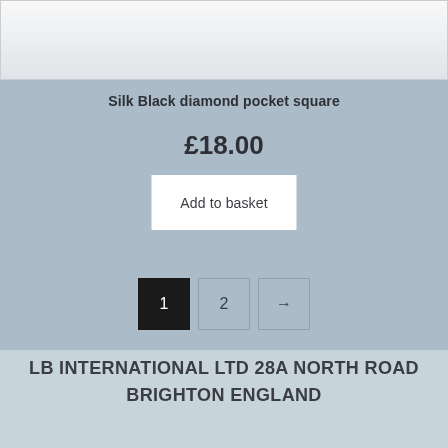[Figure (photo): Product image area (top portion cut off) showing silk black diamond pocket square]
Silk Black diamond pocket square
£18.00
Add to basket
1  2  →
LB INTERNATIONAL LTD 28A NORTH ROAD BRIGHTON ENGLAND